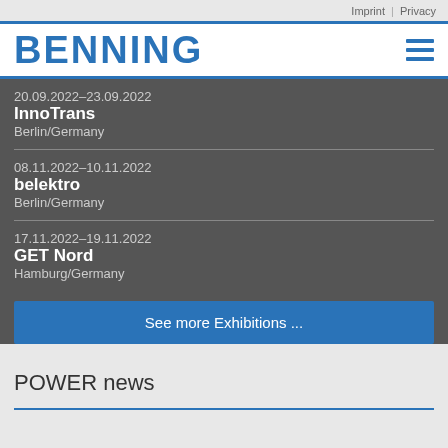Imprint | Privacy
[Figure (logo): BENNING company logo in blue bold text with hamburger menu icon]
20.09.2022–23.09.2022
InnoTrans
Berlin/Germany
08.11.2022–10.11.2022
belektro
Berlin/Germany
17.11.2022–19.11.2022
GET Nord
Hamburg/Germany
See more Exhibitions ...
POWER news